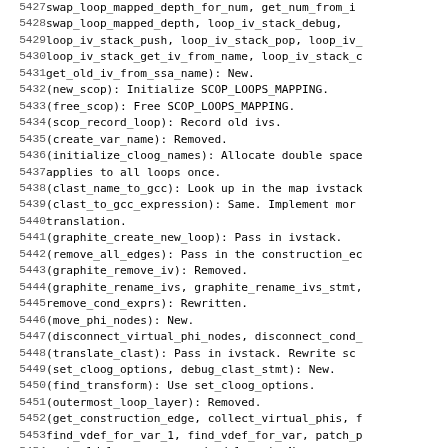5427-5458: Source code listing with line numbers and code content including function names and descriptions such as swap_loop_mapped_depth_for_num, get_num_from_i, swap_loop_mapped_depth, loop_iv_stack_debug, loop_iv_stack_push, loop_iv_stack_pop, loop_iv_stack_get_iv_from_name, loop_iv_stack_c, get_old_iv_from_ssa_name, new_scop, free_scop, scop_record_loop, create_var_name, initialize_cloog_names, clast_name_to_gcc, clast_to_gcc_expression, graphite_create_new_loop, remove_all_edges, graphite_remove_iv, graphite_rename_ivs, graphite_rename_ivs_stmt, remove_cond_exprs, move_phi_nodes, disconnect_virtual_phi_nodes, disconnect_cond_, translate_clast, set_cloog_options, debug_clast_stmt, find_transform, outermost_loop_layer, get_construction_edge, collect_virtual_phis, find_vdef_for_var_1, find_vdef_for_var, patch_p, mark_old_loops, remove_dead_loops, gloog, graphite_trans_bb_move_loop, const_column_index, get_first_matching_sign_ro, get_lower_bound_row, get_upper_bound_row, get_l